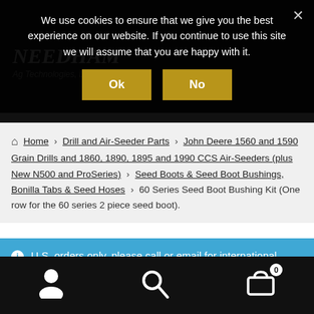We use cookies to ensure that we give you the best experience on our website. If you continue to use this site we will assume that you are happy with it.
Ok | No
Home > Drill and Air-Seeder Parts > John Deere 1560 and 1590 Grain Drills and 1860, 1890, 1895 and 1990 CCS Air-Seeders (plus New N500 and ProSeries) > Seed Boots & Seed Boot Bushings, Bonilla Tabs & Seed Hoses > 60 Series Seed Boot Bushing Kit (One row for the 60 series 2 piece seed boot).
U.S. orders only, please call or email for international orders.
Dismiss